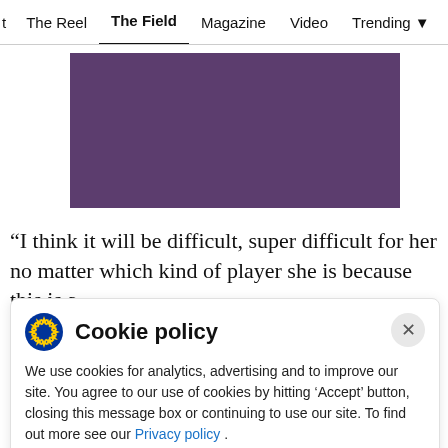t  The Reel  The Field  Magazine  Video  Trending  Se
[Figure (photo): Purple/violet rectangular image placeholder]
“I think it will be difficult, super difficult for her no matter which kind of player she is because this is a
Cookie policy
We use cookies for analytics, advertising and to improve our site. You agree to our use of cookies by hitting ‘Accept’ button, closing this message box or continuing to use our site. To find out more see our Privacy policy .
Accept